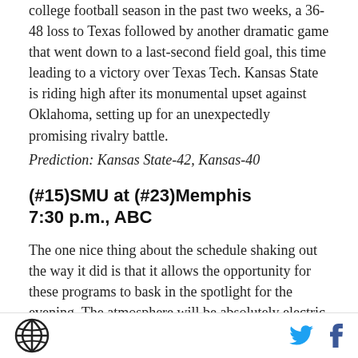college football season in the past two weeks, a 36-48 loss to Texas followed by another dramatic game that went down to a last-second field goal, this time leading to a victory over Texas Tech. Kansas State is riding high after its monumental upset against Oklahoma, setting up for an unexpectedly promising rivalry battle.
Prediction: Kansas State-42, Kansas-40
(#15)SMU at (#23)Memphis 7:30 p.m., ABC
The one nice thing about the schedule shaking out the way it did is that it allows the opportunity for these programs to bask in the spotlight for the evening. The atmosphere will be absolutely electric in Memphis as they welcome College GameDay for the first time for a
SB Nation logo | Twitter icon | Facebook icon